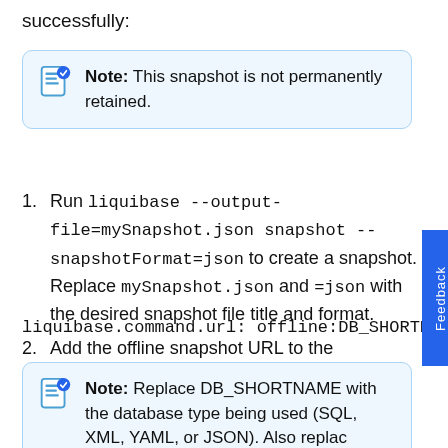successfully:
Note: This snapshot is not permanently retained.
Run liquibase --output-file=mySnapshot.json snapshot --snapshotFormat=json to create a snapshot. Replace mySnapshot.json and =json with the desired snapshot file title and format.
Add the offline snapshot URL to the liquibase.properties file:
liquibase.command.url: offline:DB_SHORTNAM
Note: Replace DB_SHORTNAME with the database type being used (SQL, XML, YAML, or JSON). Also replac...